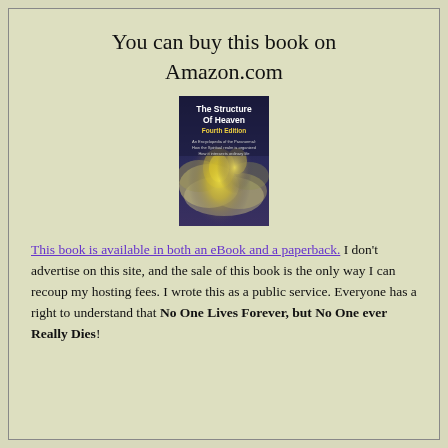You can buy this book on Amazon.com
[Figure (illustration): Book cover of 'The Structure Of Heaven, Fourth Edition' showing clouds with yellow glowing forms]
This book is available in both an eBook and a paperback. I don't advertise on this site, and the sale of this book is the only way I can recoup my hosting fees. I wrote this as a public service. Everyone has a right to understand that No One Lives Forever, but No One ever Really Dies!